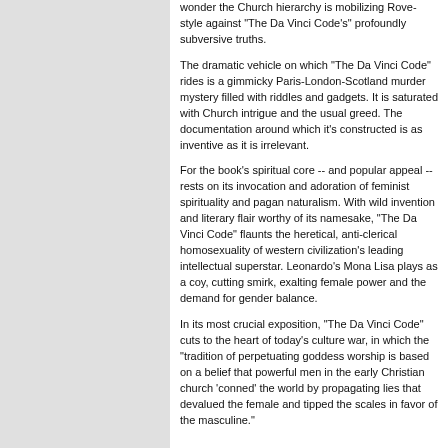[Figure (photo): Gray panel on the left side of the page, partially showing what appears to be an image cropped at the top.]
wonder the Church hierarchy is mobilizing Rove-style against "The Da Vinci Code's" profoundly subversive truths.
The dramatic vehicle on which "The Da Vinci Code" rides is a gimmicky Paris-London-Scotland murder mystery filled with riddles and gadgets. It is saturated with Church intrigue and the usual greed. The documentation around which it's constructed is as inventive as it is irrelevant.
For the book's spiritual core -- and popular appeal -- rests on its invocation and adoration of feminist spirituality and pagan naturalism. With wild invention and literary flair worthy of its namesake, "The Da Vinci Code" flaunts the heretical, anti-clerical homosexuality of western civilization's leading intellectual superstar. Leonardo's Mona Lisa plays as a coy, cutting smirk, exalting female power and the demand for gender balance.
In its most crucial exposition, "The Da Vinci Code" cuts to the heart of today's culture war, in which the "tradition of perpetuating goddess worship is based on a belief that powerful men in the early Christian church 'conned' the world by propagating lies that devalued the female and tipped the scales in favor of the masculine."